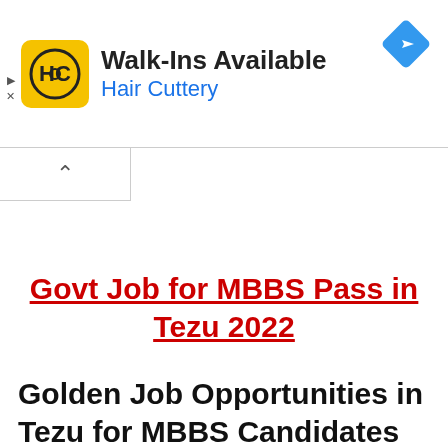[Figure (screenshot): Advertisement banner for Hair Cuttery showing logo, Walk-Ins Available text, Hair Cuttery name in blue, and a navigation diamond icon in blue top right. Small ad disclosure icons (triangle and X) on the left.]
Govt Job for MBBS Pass in Tezu 2022
Golden Job Opportunities in Tezu for MBBS Candidates